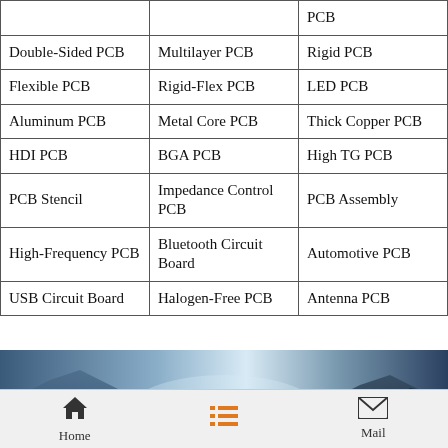| Double-Sided PCB | Multilayer PCB | Rigid PCB |
| Flexible PCB | Rigid-Flex PCB | LED PCB |
| Aluminum PCB | Metal Core PCB | Thick Copper PCB |
| HDI PCB | BGA PCB | High TG PCB |
| PCB Stencil | Impedance Control PCB | PCB Assembly |
| High-Frequency PCB | Bluetooth Circuit Board | Automotive PCB |
| USB Circuit Board | Halogen-Free PCB | Antenna PCB |
[Figure (photo): Scenic mountain valley landscape with misty blue tones]